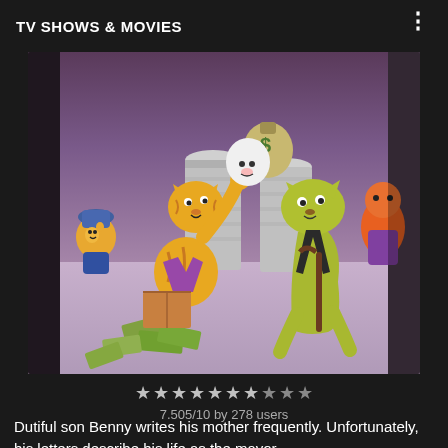TV SHOWS & MOVIES
[Figure (illustration): Cartoon animation still showing several anthropomorphic animal characters including cats and other creatures near garbage cans, with scattered money/bills on the ground. Characters are colorfully drawn in classic animation style.]
7.505/10 by 278 users
Dutiful son Benny writes his mother frequently. Unfortunately, his letters describe his life as the mayor